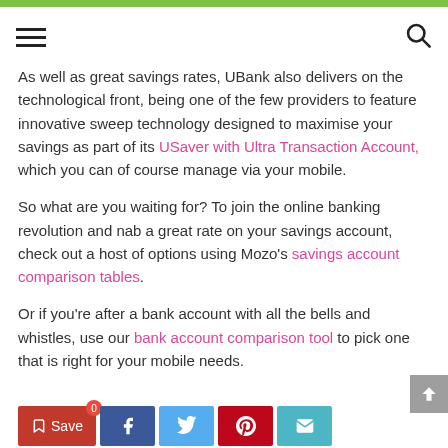[hamburger menu] [search icon]
As well as great savings rates, UBank also delivers on the technological front, being one of the few providers to feature innovative sweep technology designed to maximise your savings as part of its USaver with Ultra Transaction Account, which you can of course manage via your mobile.
So what are you waiting for? To join the online banking revolution and nab a great rate on your savings account, check out a host of options using Mozo's savings account comparison tables.
Or if you're after a bank account with all the bells and whistles, use our bank account comparison tool to pick one that is right for your mobile needs.